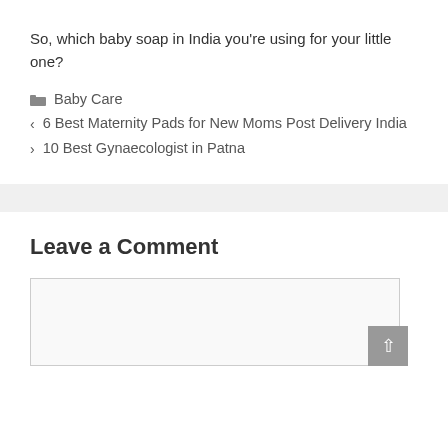So, which baby soap in India you're using for your little one?
Baby Care
6 Best Maternity Pads for New Moms Post Delivery India
10 Best Gynaecologist in Patna
Leave a Comment